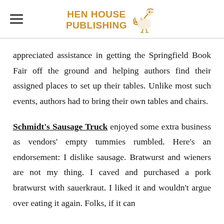HEN HOUSE PUBLISHING
appreciated assistance in getting the Springfield Book Fair off the ground and helping authors find their assigned places to set up their tables. Unlike most such events, authors had to bring their own tables and chairs.
Schmidt's Sausage Truck enjoyed some extra business as vendors' empty tummies rumbled. Here's an endorsement: I dislike sausage. Bratwurst and wieners are not my thing. I caved and purchased a pork bratwurst with sauerkraut. I liked it and wouldn't argue over eating it again. Folks, if it can